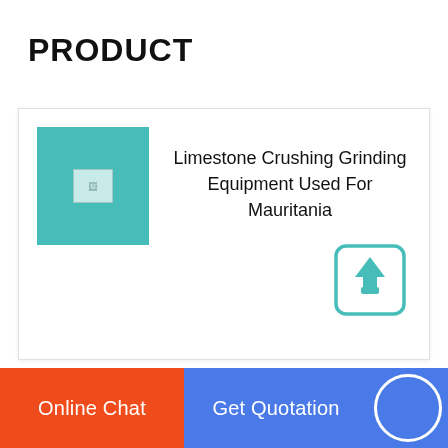PRODUCT
[Figure (other): Product card with teal thumbnail image placeholder and title text 'Limestone Crushing Grinding Equipment Used For Mauritania', with an upload/share icon at bottom right of the card]
Limestone Crushing Grinding Equipment Used For Mauritania
Online Chat | Get Quotation